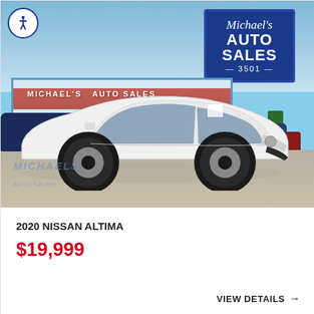[Figure (photo): Exterior photo of Michael's Auto Sales dealership with a white 2020 Nissan Altima in the foreground. The dealership sign reads 'Michael's AUTO SALES 3501'. The building facade reads 'MICHAEL'S AUTO SALES'. An accessibility icon is in the top-left corner. Michael's watermark logo appears at bottom-left of the photo.]
2020 NISSAN ALTIMA
$19,999
VIEW DETAILS →